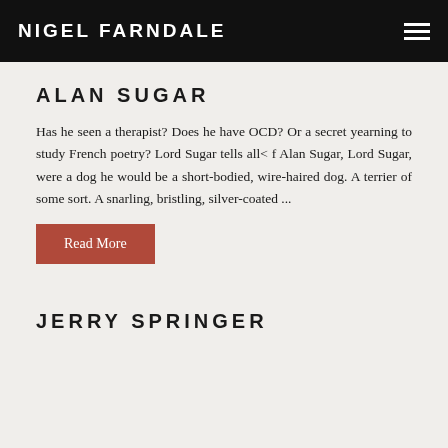NIGEL FARNDALE
ALAN SUGAR
Has he seen a therapist? Does he have OCD? Or a secret yearning to study French poetry? Lord Sugar tells all< f Alan Sugar, Lord Sugar, were a dog he would be a short-bodied, wire-haired dog. A terrier of some sort. A snarling, bristling, silver-coated ...
Read More
JERRY SPRINGER